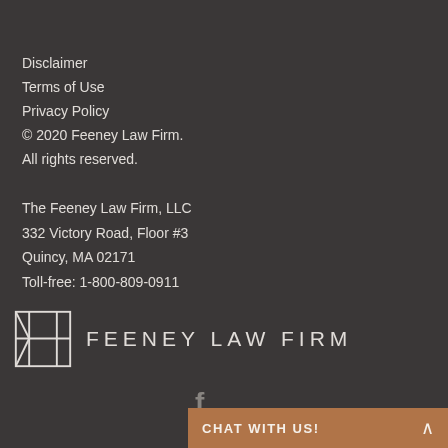Disclaimer
Terms of Use
Privacy Policy
© 2020 Feeney Law Firm. All rights reserved.
The Feeney Law Firm, LLC
332 Victory Road, Floor #3
Quincy, MA 02171
Toll-free: 1-800-809-0911
[Figure (logo): Feeney Law Firm logo with stylized monogram and firm name in spaced caps]
[Figure (other): Facebook social media icon]
CHAT WITH US!